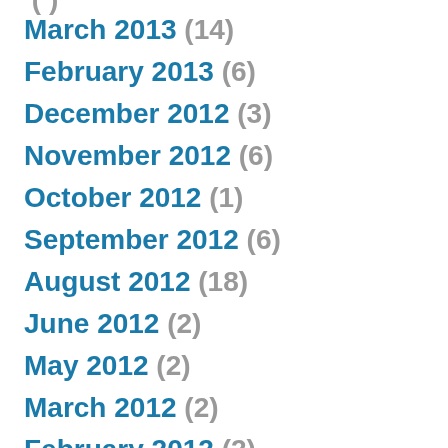March 2013 (14)
February 2013 (6)
December 2012 (3)
November 2012 (6)
October 2012 (1)
September 2012 (6)
August 2012 (18)
June 2012 (2)
May 2012 (2)
March 2012 (2)
February 2012 (2)